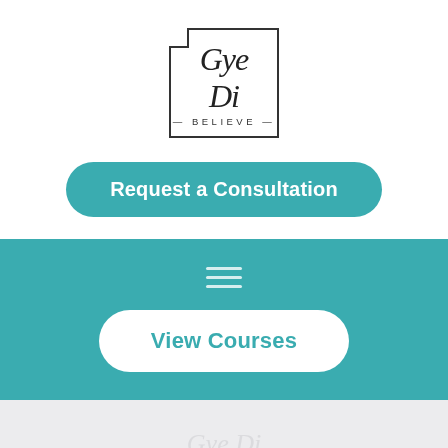[Figure (logo): Gye Di Believe logo: cursive script text 'Gye Di' above the word 'BELIEVE' in spaced capital letters, enclosed in a square border with a cut corner at top-left]
Request a Consultation
[Figure (other): Teal/turquoise banner section containing a hamburger menu icon (three horizontal lines) and a 'View Courses' button]
View Courses